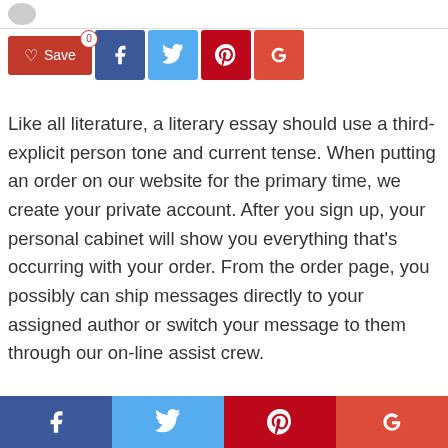[Figure (other): Social share bar with Save, Facebook, Twitter, Pinterest, Google+ buttons]
Like all literature, a literary essay should use a third-explicit person tone and current tense. When putting an order on our website for the primary time, we create your private account. After you sign up, your personal cabinet will show you everything that's occurring with your order. From the order page, you possibly can ship messages directly to your assigned author or switch your message to them through our on-line assist crew.
This article will assist to outline different types of characters so effectively. We'll talk about the other
[Figure (other): Bottom footer social share bar with Facebook, Twitter, Pinterest, Google+ buttons]